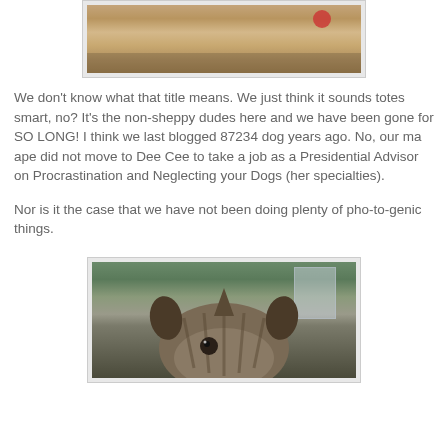[Figure (photo): Top portion of a photo showing a dog on a wooden deck, with a red ball visible]
We don't know what that title means. We just think it sounds totes smart, no? It's the non-sheppy dudes here and we have been gone for SO LONG! I think we last blogged 87234 dog years ago. No, our ma ape did not move to Dee Cee to take a job as a Presidential Advisor on Procrastination and Neglecting your Dogs (her specialties).
Nor is it the case that we have not been doing plenty of pho-to-genic things.
[Figure (photo): Close-up photo of a brindle dog's face looking at the camera, with a yard and fence visible in the background]